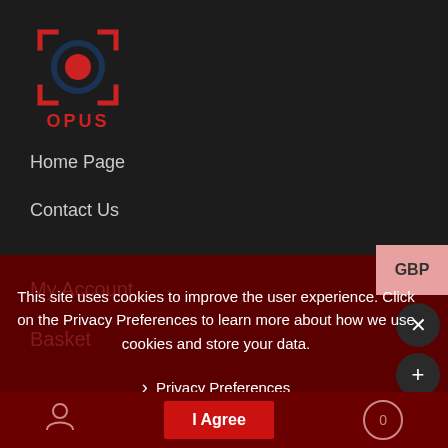[Figure (logo): OPUS logo — red circular target/lens icon with dark navy background, red text OPUS below]
Home Page
Contact Us
GBP
This site uses cookies to improve the user experience. Click on the Privacy Preferences to learn more about how we use cookies and store your data.
› Privacy Preferences
I Agree
My Account
Basket